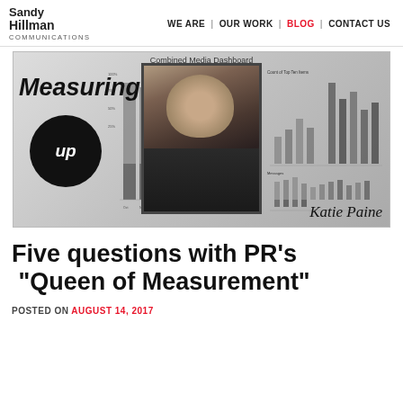Sandy Hillman Communications | WE ARE | OUR WORK | BLOG | CONTACT US
[Figure (screenshot): Combined Media Dashboard screenshot with bar charts showing media metrics, overlaid with a photo of Katie Paine and 'Measuring up' text]
Five questions with PR's “Queen of Measurement”
POSTED ON AUGUST 14, 2017